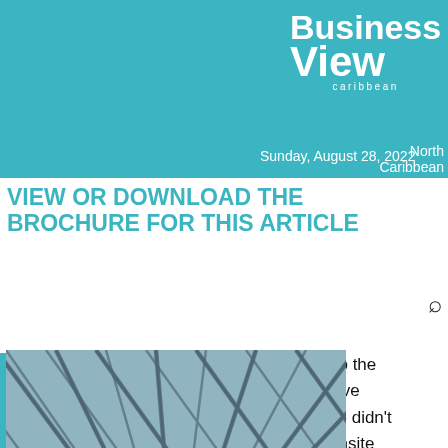Business View Caribbean
Sunday, August 28, 2022   North Caribbean
VIEW OR DOWNLOAD THE BROCHURE FOR THIS ARTICLE
[Figure (photo): Brochure cover for Yorke Structures Limited, Structural Engineers, showing a steel lattice roof structure and the company logo with YSL branding]
bo the e've ve didn't onsite hen we it. In the ne some in all the